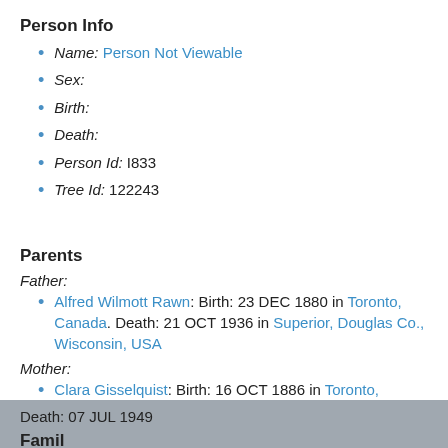Person Info
Name: Person Not Viewable
Sex:
Birth:
Death:
Person Id: I833
Tree Id: 122243
Parents
Father:
Alfred Wilmott Rawn: Birth: 23 DEC 1880 in Toronto, Canada. Death: 21 OCT 1936 in Superior, Douglas Co., Wisconsin, USA
Mother:
Clara Gisselquist: Birth: 16 OCT 1886 in Toronto, Canada. Death: 07 JUL 1949
Family